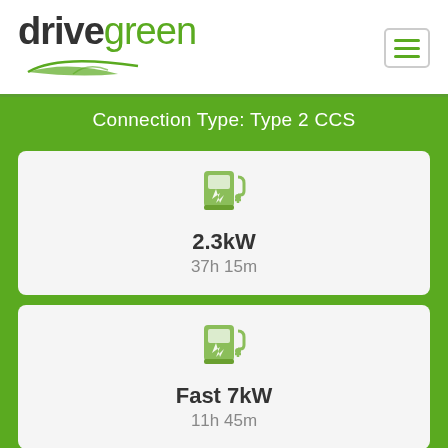[Figure (logo): Drive Green logo with leaf icon and hamburger menu]
Connection Type: Type 2 CCS
2.3kW
37h 15m
Fast 7kW
11h 45m